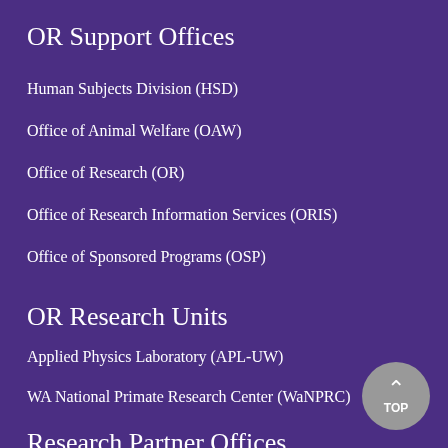OR Support Offices
Human Subjects Division (HSD)
Office of Animal Welfare (OAW)
Office of Research (OR)
Office of Research Information Services (ORIS)
Office of Sponsored Programs (OSP)
OR Research Units
Applied Physics Laboratory (APL-UW)
WA National Primate Research Center (WaNPRC)
Research Partner Offices
CoMotion